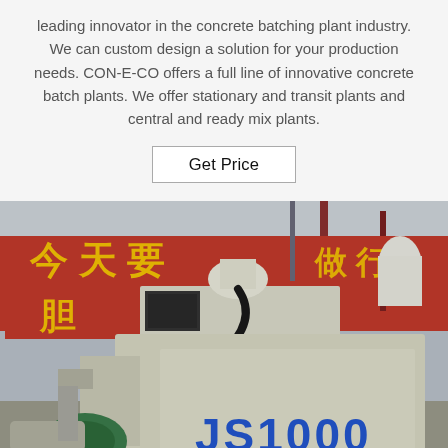leading innovator in the concrete batching plant industry. We can custom design a solution for your production needs. CON-E-CO offers a full line of innovative concrete batch plants. We offer stationary and transit plants and central and ready mix plants.
Get Price
[Figure (photo): Industrial concrete mixer machine labeled JS1000, cream/beige colored body with blue stenciled text JS1000, set in an outdoor industrial yard with red Chinese-character banners and construction cranes in the background.]